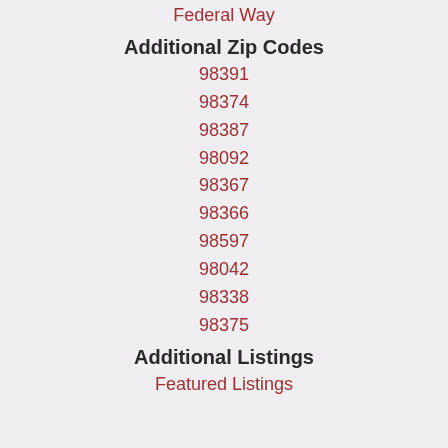Federal Way
Additional Zip Codes
98391
98374
98387
98092
98367
98366
98597
98042
98338
98375
Additional Listings
Featured Listings